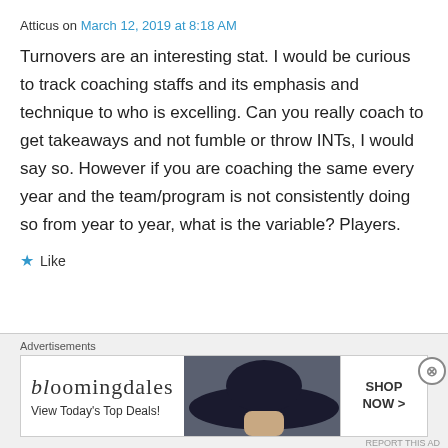Atticus on March 12, 2019 at 8:18 AM
Turnovers are an interesting stat. I would be curious to track coaching staffs and its emphasis and technique to who is excelling. Can you really coach to get takeaways and not fumble or throw INTs, I would say so. However if you are coaching the same every year and the team/program is not consistently doing so from year to year, what is the variable? Players.
★ Like
Advertisements
[Figure (screenshot): Bloomingdale's advertisement banner with woman in large hat and 'SHOP NOW >' button]